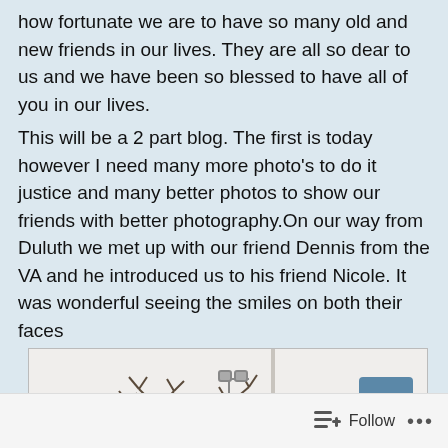how fortunate we are to have so many old and new friends in our lives.  They are all so dear to us and we have been so blessed to have all of you in our lives.
This will be a 2 part blog.  The first is today however I need many more photo's to do it justice and many better photos to show our friends with better photography.On our way from Duluth we met up with our friend Dennis from the VA and he introduced us to his friend Nicole.  It was wonderful seeing the smiles on both their faces
[Figure (photo): Winter scene photograph showing bare trees and a lamp post against a light sky, partially visible. A blue scroll-up button is overlaid in the top right corner of the image.]
Follow ···